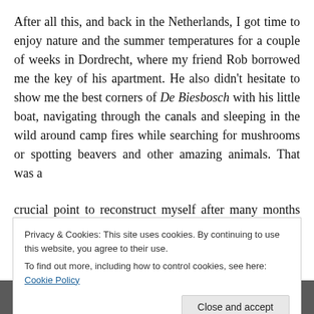After all this, and back in the Netherlands, I got time to enjoy nature and the summer temperatures for a couple of weeks in Dordrecht, where my friend Rob borrowed me the key of his apartment. He also didn't hesitate to show me the best corners of De Biesbosch with his little boat, navigating through the canals and sleeping in the wild around camp fires while searching for mushrooms or spotting beavers and other amazing animals. That was a crucial point to reconstruct myself after many months on
Privacy & Cookies: This site uses cookies. By continuing to use this website, you agree to their use.
To find out more, including how to control cookies, see here: Cookie Policy
[Figure (photo): Bottom strip showing partial photos of people]